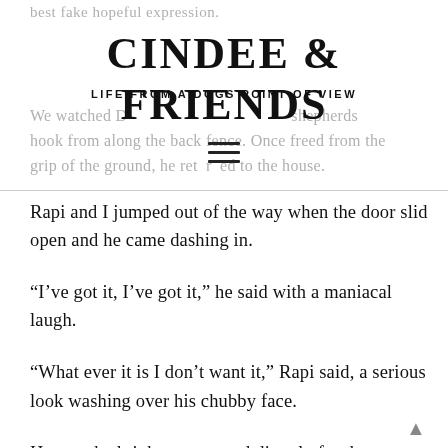best fake hopeful expression.
CINDEE & FRIENDS — LIFE FROM A DOGS POINT OF VIEW
We watched D... shepherds hook from along the back fence. Once freed from the grip of the ground, he returned to the house.
Rapi and I jumped out of the way when the door slid open and he came dashing in.
“I’ve got it, I’ve got it,” he said with a maniacal laugh.
“What ever it is I don’t want it,” Rapi said, a serious look washing over his chubby face.
He marched right past us and directly for the basement door.